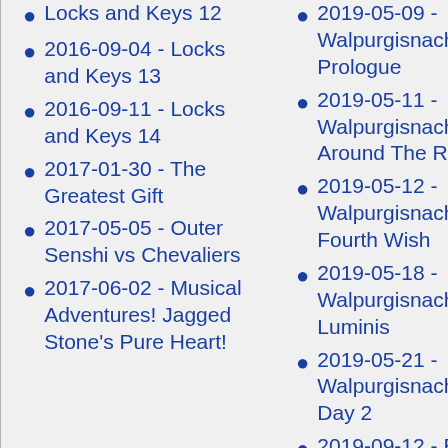Locks and Keys 12
2016-09-04 - Locks and Keys 13
2016-09-11 - Locks and Keys 14
2017-01-30 - The Greatest Gift
2017-05-05 - Outer Senshi vs Chevaliers
2017-06-02 - Musical Adventures! Jagged Stone's Pure Heart!
2019-05-09 - Walpurgisnacht: Prologue
2019-05-11 - Walpurgisnacht: Ring Around The Roses
2019-05-12 - Walpurgisnacht: The Fourth Wish
2019-05-18 - Walpurgisnacht: Sagitta Luminis
2019-05-21 - Walpurgisnacht: New Day 2
2019-09-12 - Beat The Heat
2019-09-26 - Pulp Fiction 1